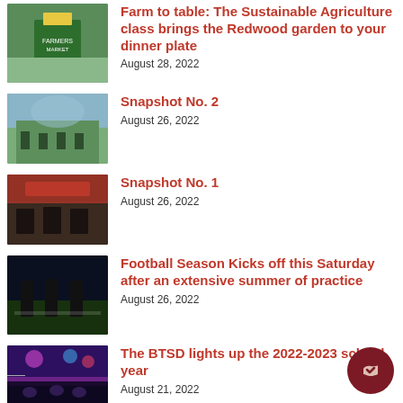Farm to table: The Sustainable Agriculture class brings the Redwood garden to your dinner plate
August 28, 2022
Snapshot No. 2
August 26, 2022
Snapshot No. 1
August 26, 2022
Football Season Kicks off this Saturday after an extensive summer of practice
August 26, 2022
The BTSD lights up the 2022-2023 school year
August 21, 2022